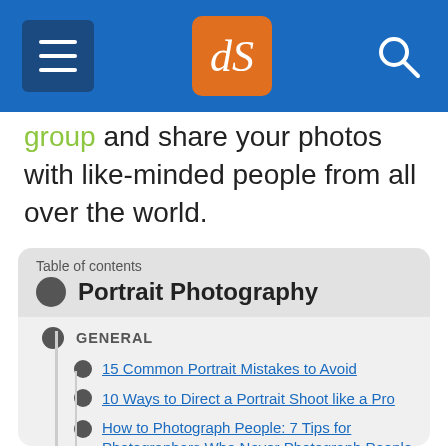dPS (Digital Photography School) navigation header
group and share your photos with like-minded people from all over the world.
Table of contents — Portrait Photography
GENERAL
15 Common Portrait Mistakes to Avoid
10 Ways to Direct a Portrait Shoot like a Pro
How to Photograph People: 7 Tips for Photographers Who Never Photograph People
10 Crucial Things You Need to Think About